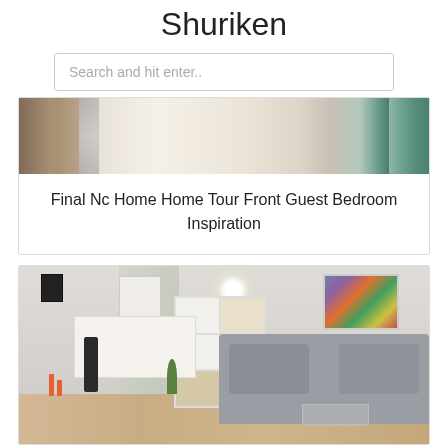Shuriken
Search and hit enter..
[Figure (photo): Bedroom photo showing white bedding, wicker basket with grey throw, and sage green painted furniture]
Final Nc Home Home Tour Front Guest Bedroom Inspiration
[Figure (photo): Modern studio apartment interior showing living area with grey sofa, bookshelf room divider, bed area, artwork on wall, and ceiling lamp]